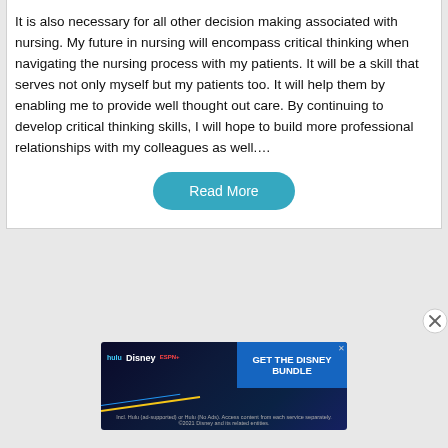It is also necessary for all other decision making associated with nursing. My future in nursing will encompass critical thinking when navigating the nursing process with my patients. It will be a skill that serves not only myself but my patients too. It will help them by enabling me to provide well thought out care. By continuing to develop critical thinking skills, I will hope to build more professional relationships with my colleagues as well.…
[Figure (other): Teal 'Read More' pill-shaped button]
[Figure (other): Close (X) circle icon on right edge]
[Figure (other): Advertisement banner for Disney Bundle featuring Hulu, Disney+, ESPN+ logos and 'GET THE DISNEY BUNDLE' call to action]